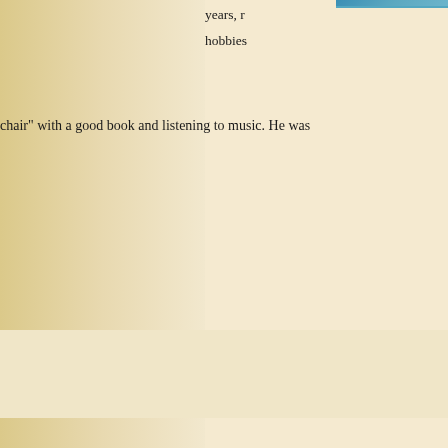[Figure (photo): Top strip: partial photo visible at top of upper content area, blue/teal color strip]
years, r... hobbies... chair" with a good book and listening to music. He was
[Figure (photo): Portrait photo of a woman with brown hair, blue eyes, against a blue sky/painted background with a red wooden structure visible behind her head]